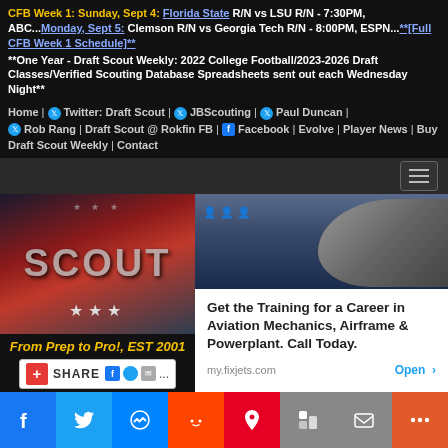CFB Week 1: Sunday, Sept 4: Florida State R/N vs LSU R/N - 7:30PM, ABC...Monday, Sept 5: Clemson R/N vs Georgia Tech R/N - 8:00PM, ESPN...**[Full CFB Week 1 Schedule]**
**One Year - Draft Scout Weekly: 2022 College Football/2023-2026 Draft Classes/Verified Scouting Database Spreadsheets sent out each Wednesday Night**
Home | Twitter: Draft Scout | JBScouting | Paul Duncan | Rob Rang | Draft Scout @ Rokfin FB | Facebook | Evolve | Player News | Buy Draft Scout Weekly | Contact
[Figure (screenshot): Draft Scout logo with American flag motif and text 'From Prep to Pro!, EST 2001' with social share buttons below]
[Figure (screenshot): Aviation mechanics advertisement: Get the Training for a Career in Aviation Mechanics, Airframe & Powerplant. Call Today. my.fixjets.com]
September 4, 2022
2022 CFB/2023-2026 Draft Scout...